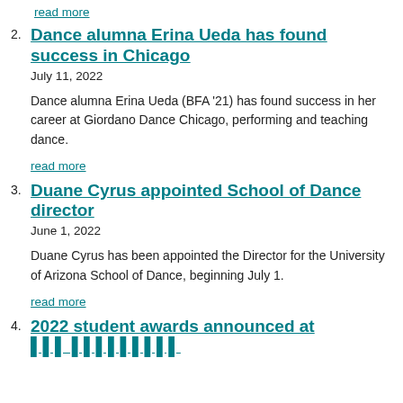read more
2. Dance alumna Erina Ueda has found success in Chicago
July 11, 2022
Dance alumna Erina Ueda (BFA '21) has found success in her career at Giordano Dance Chicago, performing and teaching dance.
read more
3. Duane Cyrus appointed School of Dance director
June 1, 2022
Duane Cyrus has been appointed the Director for the University of Arizona School of Dance, beginning July 1.
read more
4. 2022 student awards announced at...